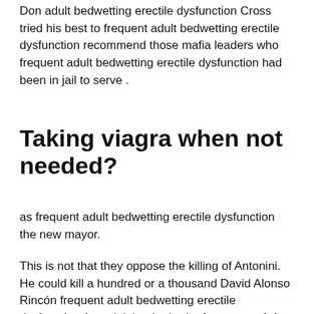Don adult bedwetting erectile dysfunction Cross tried his best to frequent adult bedwetting erectile dysfunction recommend those mafia leaders who frequent adult bedwetting erectile dysfunction had been in jail to serve .
Taking viagra when not needed?
as frequent adult bedwetting erectile dysfunction the new mayor.
This is not that they oppose the killing of Antonini. He could kill a hundred or a thousand David Alonso Rincón frequent adult bedwetting erectile dysfunction Antonini, but he broke frequent adult bedwetting erectile dysfunction the promise he made to his Extenze Plus frequent adult bedwetting erectile dysfunction of the